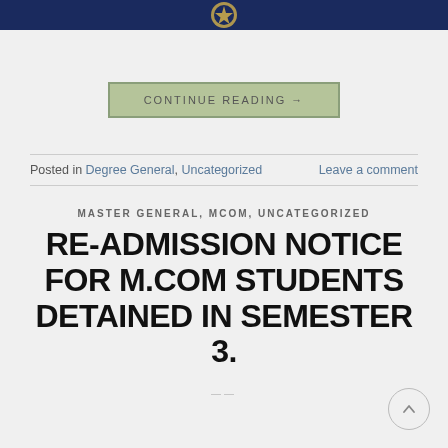Header navigation bar with emblem
CONTINUE READING →
Posted in Degree General, Uncategorized   Leave a comment
MASTER GENERAL, MCOM, UNCATEGORIZED
RE-ADMISSION NOTICE FOR M.COM STUDENTS DETAINED IN SEMESTER 3.